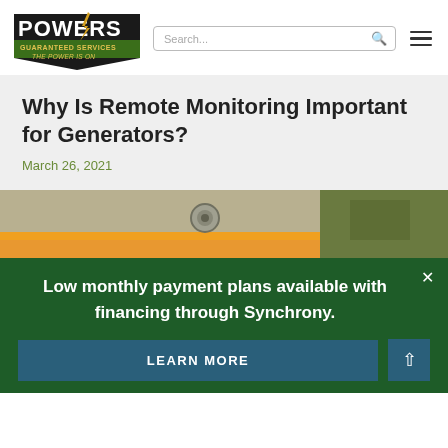[Figure (logo): Powers Guaranteed Services logo — bold 'POWERS' text with lightning bolt, green banner reading 'GUARANTEED SERVICES' and 'THE POWER IS ON']
Why Is Remote Monitoring Important for Generators?
March 26, 2021
[Figure (photo): Partial photo of a generator unit with orange and yellow-green coloring visible]
Low monthly payment plans available with financing through Synchrony.
LEARN MORE